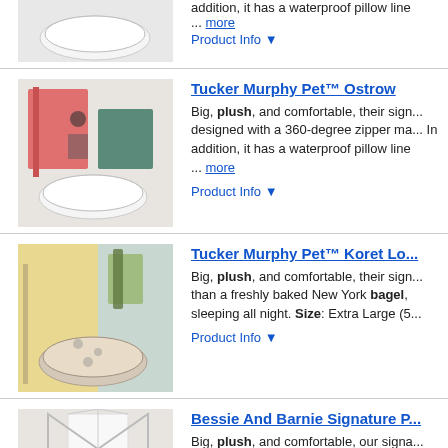[Figure (photo): White round pet bed on floor, partial view at top of page]
addition, it has a waterproof pillow line... more
Product Info ▼
Tucker Murphy Pet™ Ostrow...
[Figure (photo): White round pet bed in a room setting with pink and teal chairs]
Big, plush, and comfortable, their sign... designed with a 360-degree zipper ma... In addition, it has a waterproof pillow line ... more
Product Info ▼
Tucker Murphy Pet™ Koret Lo...
[Figure (photo): Round pet bed with paw print pattern in room with yellow chairs]
Big, plush, and comfortable, their sign... than a freshly baked New York bagel, sleeping all night. Size: Extra Large (5...
Product Info ▼
Bessie And Barnie Signature P...
[Figure (photo): Round pet bed with star pattern under a teepee structure]
Big, plush, and comfortable, our signa... Beds are designed with a 360-degree clean. In addition, it has a waterproof p... more
Product Info ▼
Tucker Murphy Pet™ Parkes ...
[Figure (photo): Colorful round pet bed with multicolored dot pattern]
Big, plush, and comfortable, this prod... degree zipper making it easy to assem... waterproof pillow liner, and the covers...